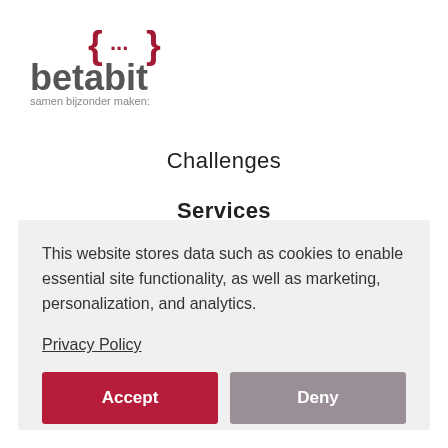[Figure (logo): Betabit logo with curly braces icon in dark red and gray text 'samen bijzonder maken:']
Challenges
Services
This website stores data such as cookies to enable essential site functionality, as well as marketing, personalization, and analytics.
Privacy Policy
Accept
Deny